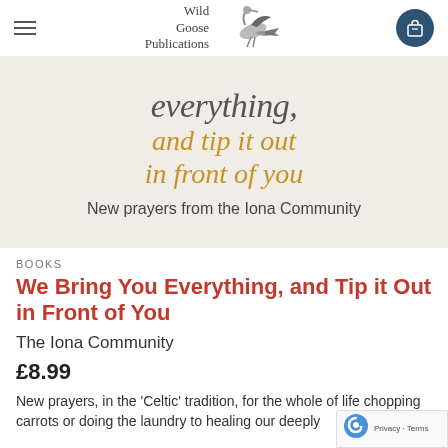Wild Goose Publications
[Figure (illustration): Book cover for 'We Bring You Everything, and Tip it Out in Front of You' — beige/tan background with italic text in grey and gold, subtitle 'New prayers from the Iona Community']
BOOKS
We Bring You Everything, and Tip it Out in Front of You
The Iona Community
£8.99
New prayers, in the 'Celtic' tradition, for the whole of life chopping carrots or doing the laundry to healing our deeply